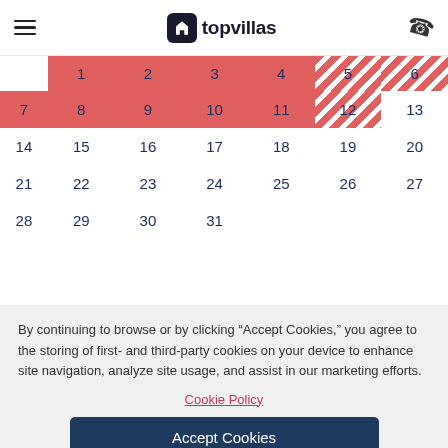topvillas
[Figure (other): Vacation rental booking calendar showing a month view. Days 1-12 highlighted in red/salmon indicating booked dates with diagonal stripe pattern on days 5-6 and 12. Days 14-31 available (white background). Numbers shown: 1,2,3,4,5,6,7,8,9,10,11,12,13,14,15,16,17,18,19,20,21,22,23,24,25,26,27,28,29,30,31]
By continuing to browse or by clicking “Accept Cookies,” you agree to the storing of first- and third-party cookies on your device to enhance site navigation, analyze site usage, and assist in our marketing efforts.
Cookie Policy
Accept Cookies